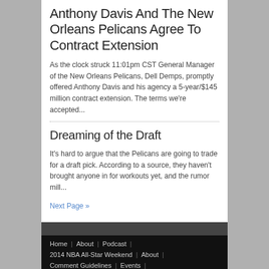Anthony Davis And The New Orleans Pelicans Agree To Contract Extension
As the clock struck 11:01pm CST General Manager of the New Orleans Pelicans, Dell Demps, promptly offered Anthony Davis and his agency a 5-year/$145 million contract extension. The terms we're accepted...
Dreaming of the Draft
It's hard to argue that the Pelicans are going to trade for a draft pick. According to a source, they haven't brought anyone in for workouts yet, and the rumor mill...
Next Page »
Home | About | Podcast | 2014 NBA All-Star Weekend | About | Comment Guidelines | Events | Feeds for Hornets247 | Gerry V: Weak Side Eyes | Past Events | Salary Central